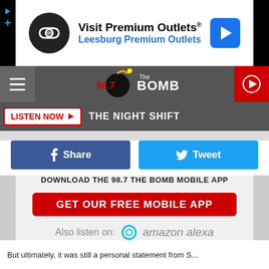[Figure (screenshot): Advertisement banner for Leesburg Premium Outlets with circular logo and blue navigation arrow icon]
[Figure (logo): 98.7 The Bomb radio station logo with bomb graphic]
[Figure (screenshot): Navigation bar with hamburger menu, station logo, and red play button]
LISTEN NOW ▶ THE NIGHT SHIFT
[Figure (screenshot): Facebook Share button (dark blue) and Twitter Tweet button (light blue)]
DOWNLOAD THE 98.7 THE BOMB MOBILE APP
GET OUR FREE MOBILE APP
Also listen on: amazon alexa
But ultimately, it was still a personal statement from S...